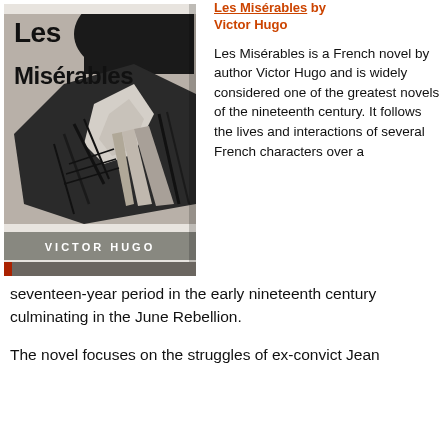[Figure (illustration): Book cover of Les Misérables by Victor Hugo — black and white illustration showing a figure, with bold title text 'Les Misérables' at top and 'VICTOR HUGO' in a grey bar at the bottom.]
Les Misérables by Victor Hugo
Les Misérables is a French novel by author Victor Hugo and is widely considered one of the greatest novels of the nineteenth century. It follows the lives and interactions of several French characters over a seventeen-year period in the early nineteenth century culminating in the June Rebellion.
The novel focuses on the struggles of ex-convict Jean